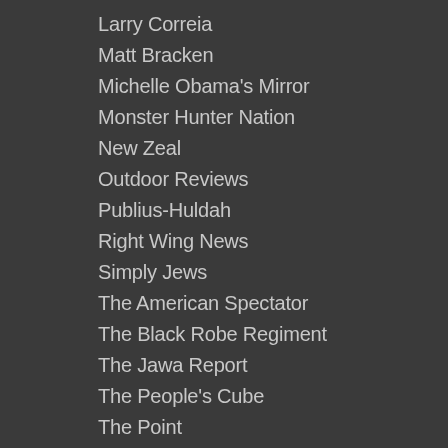Larry Correia
Matt Bracken
Michelle Obama's Mirror
Monster Hunter Nation
New Zeal
Outdoor Reviews
Publius-Huldah
Right Wing News
Simply Jews
The American Spectator
The Black Robe Regiment
The Jawa Report
The People's Cube
The Point
The Religion of Peace
The Soros Files
Theo Spark
True The Vote
Tundra Tabloids
Virginia Right!
Vlad Tepes